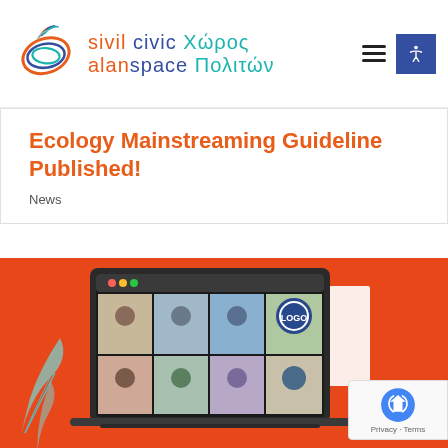[Figure (logo): Sivil Alan / Civic Space / Χώρος Πολιτών website logo with swirl graphic and trilingual text]
Ecology Mainstreaming Guideline Published!
News
[Figure (illustration): Orange background with a laptop showing a video conference grid of participants, decorative leaf illustration, and a white card overlay]